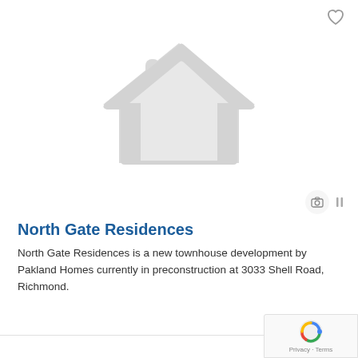[Figure (illustration): Large light grey house/home icon placeholder image on white background]
North Gate Residences
North Gate Residences is a new townhouse development by Pakland Homes currently in preconstruction at 3033 Shell Road, Richmond.